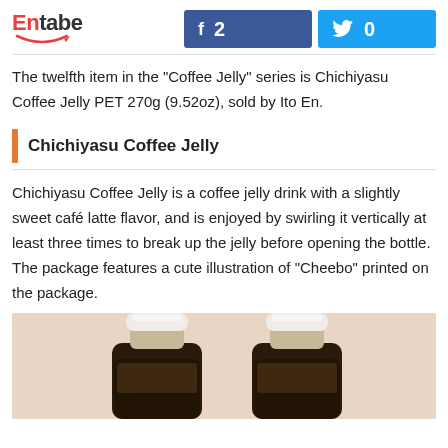Entabe | Facebook: 2 | Twitter: 0
The twelfth item in the "Coffee Jelly" series is Chichiyasu Coffee Jelly PET 270g (9.52oz), sold by Ito En.
Chichiyasu Coffee Jelly
Chichiyasu Coffee Jelly is a coffee jelly drink with a slightly sweet café latte flavor, and is enjoyed by swirling it vertically at least three times to break up the jelly before opening the bottle. The package features a cute illustration of "Cheebo" printed on the package.
[Figure (photo): Two bottles of Chichiyasu Coffee Jelly PET shown from above, with white caps and dark brown jelly visible inside.]